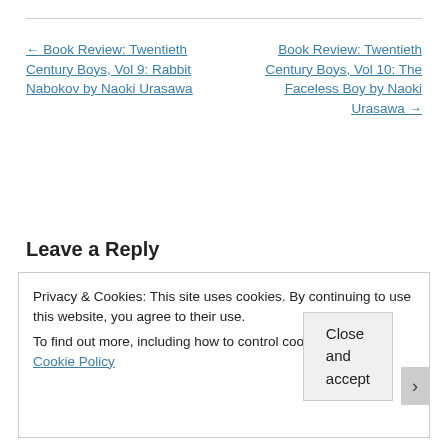← Book Review: Twentieth Century Boys, Vol 9: Rabbit Nabokov by Naoki Urasawa
Book Review: Twentieth Century Boys, Vol 10: The Faceless Boy by Naoki Urasawa →
Leave a Reply
Privacy & Cookies: This site uses cookies. By continuing to use this website, you agree to their use.
To find out more, including how to control cookies, see here: Cookie Policy